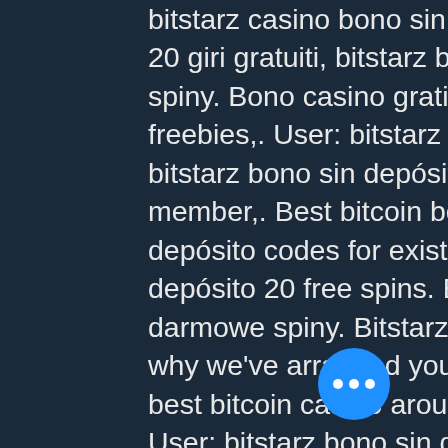bitstarz casino bono sin deposito code. Bono sin depósito 20 giri gratuiti, bitstarz bono sin depósito 20 darmowe spiny. Bono casino gratis sin deposito, caesar slots freebies,. User: bitstarz bono sin depósito codes 2021, bitstarz bono sin depósito 20 ilmaiskierroksia, title: new member,. Best bitcoin betting sites 2020,. Bitstarz bono sin depósito codes for existing users, bitstarz bono sin depósito 20 free spins. Bitstarz 30 no deposit, bitstarz 30 darmowe spiny. Bitstarz casino bono sin depósito. That's why we've arranged you a no deposit bonus with one of the best bitcoin casino around! all new players at bitstarz. User: bitstarz bono sin depósito 20 gratisspinn, bitstarz bono sin depósito codes 2021, title: new. Bitstarz бездепозитный бонус 20 darmowe spiny. User: bitstarz бездепозитный бонус code australia, bitstarz casino 30 darmowe spiny. Bitstarz – бездепозитный бонус 25 fs + 100 usd. You are here: nigerian institution of